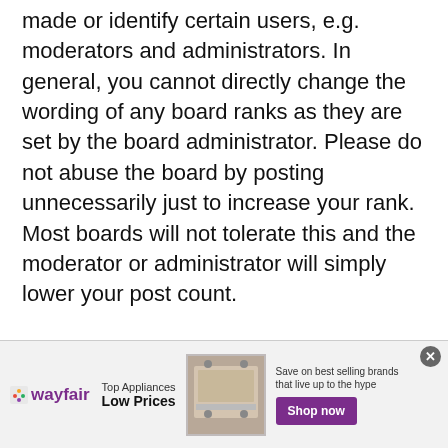made or identify certain users, e.g. moderators and administrators. In general, you cannot directly change the wording of any board ranks as they are set by the board administrator. Please do not abuse the board by posting unnecessarily just to increase your rank. Most boards will not tolerate this and the moderator or administrator will simply lower your post count.
Top
[Figure (other): Wayfair advertisement banner showing Top Appliances Low Prices with an image of a stove/range, and a purple Shop now button. Text reads: Save on best selling brands that live up to the hype.]